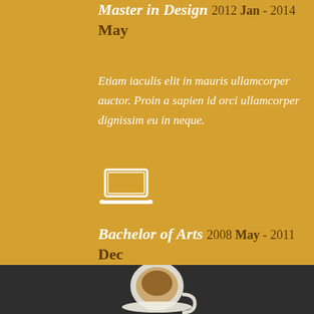Master in Design 2012 Jan - 2014 May
Etiam iaculis elit in mauris ullamcorper auctor. Proin a sapien id orci ullamcorper dignissim eu in neque.
[Figure (illustration): Laptop computer icon, white outline style]
Bachelor of Arts 2008 May - 2011 Dec
Orci varius natoque penatibus et magnis dis parturient montes, nascetur ridiculus mus.
[Figure (photo): Photo of a coffee cup on a dark background, top-down view]